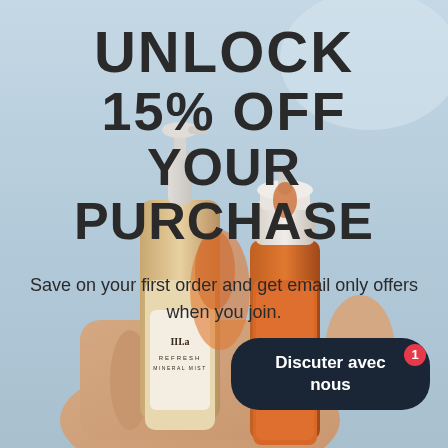[Figure (photo): A hand holding two skincare product bottles — a white pump spray bottle labeled 'Refresh Mineral Mist' and an amber/orange serum bottle — against a light blue sky background.]
UNLOCK 15% OFF YOUR PURCHASE
Save on your first order and get email only offers when you join.
Discuter avec nous